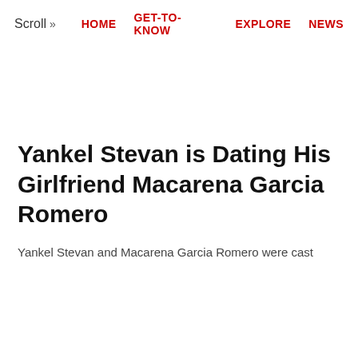Scroll >> HOME  GET-TO-KNOW  EXPLORE  NEWS
Yankel Stevan is Dating His Girlfriend Macarena Garcia Romero
Yankel Stevan and Macarena Garcia Romero were cast